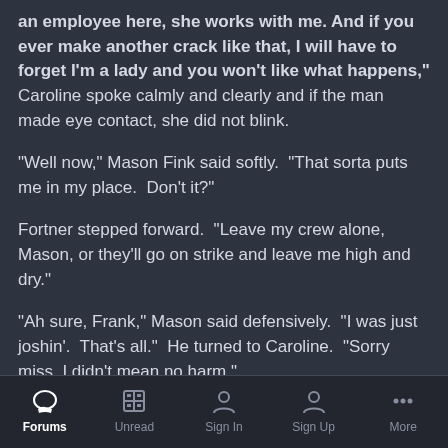"an employee here, she works with me. And if you ever make another crack like that, I will have to forget I'm a lady and you won't like what happens," Caroline spoke calmly and clearly and if the man made eye contact, she did not blink.
"Well now," Mason Fink said softly.  "That sorta puts me in my place.  Don't it?"
Fortner stepped forward.  "Leave my crew alone, Mason, or they'll go on strike and leave me high and dry."
"Ah sure, Frank," Mason said defensively.  "I was just joshin'.  That's all."  He turned to Caroline.  "Sorry miss, I didn't mean no harm."
By now, Hiram Priest sidled over to the group.
Forums  Unread  Sign In  Sign Up  More